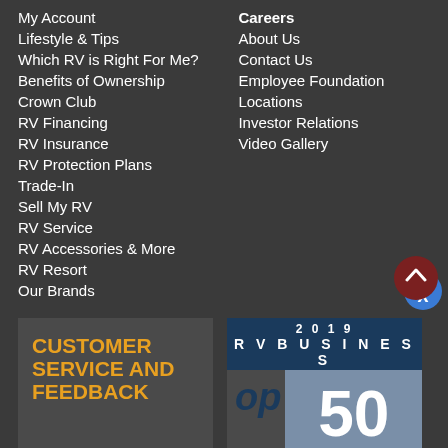My Account
Lifestyle & Tips
Which RV is Right For Me?
Benefits of Ownership
Crown Club
RV Financing
RV Insurance
RV Protection Plans
Trade-In
Sell My RV
RV Service
RV Accessories & More
RV Resort
Our Brands
Careers
About Us
Contact Us
Employee Foundation
Locations
Investor Relations
Video Gallery
CUSTOMER SERVICE AND FEEDBACK
[Figure (logo): 2019 RV Business Top 50 award logo badge]